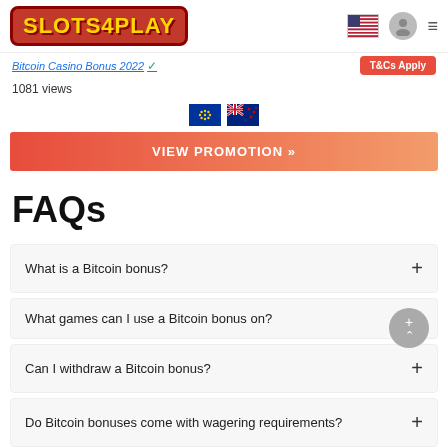SLOTS4PLAY
Bitcoin Casino Bonus 2022 | T&Cs Apply
1081 views
[Figure (other): EU flag and New Zealand flag icons]
VIEW PROMOTION »
FAQs
What is a Bitcoin bonus?
What games can I use a Bitcoin bonus on?
Can I withdraw a Bitcoin bonus?
Do Bitcoin bonuses come with wagering requirements?